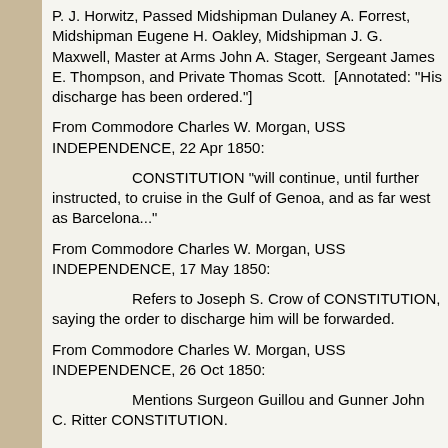P. J. Horwitz, Passed Midshipman Dulaney A. Forrest, Midshipman Eugene H. Oakley, Midshipman J. G. Maxwell, Master at Arms John A. Stager, Sergeant James E. Thompson, and Private Thomas Scott.  [Annotated: "His discharge has been ordered."]
From Commodore Charles W. Morgan, USS INDEPENDENCE, 22 Apr 1850:
CONSTITUTION "will continue, until further instructed, to cruise in the Gulf of Genoa, and as far west as Barcelona..."
From Commodore Charles W. Morgan, USS INDEPENDENCE, 17 May 1850:
Refers to Joseph S. Crow of CONSTITUTION, saying the order to discharge him will be forwarded.
From Commodore Charles W. Morgan, USS INDEPENDENCE, 26 Oct 1850:
Mentions Surgeon Guillou and Gunner John C. Ritter CONSTITUTION.